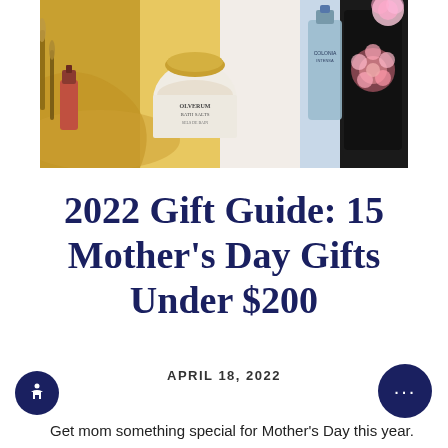[Figure (photo): Hero image showing beauty and bath products including Olverum Bath Salts, nail polish, cologne bottles, and a floral tin against a gold/marble background]
2022 Gift Guide: 15 Mother's Day Gifts Under $200
APRIL 18, 2022
Get mom something special for Mother's Day this year.